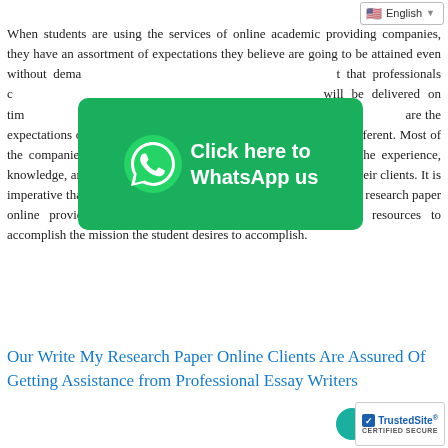English
When students are using the services of online academic providing companies, they have an assortment of expectations they believe are going to be attained even without demanding that professionals complete the assignments that will be delivered on time, free from plagiarism, among others. The assertion, however, that is while these are the expectations of the student, the realities on the ground are much different. Most of the companies offering to write my research paper online lack the experience, knowledge, and resources to offer even half of what they promise their clients. It is imperative that clients relied on seasoned and experienced write my research paper online providers, who have the experience, knowledge, and resources to accomplish the mission the student desires to accomplish.
[Figure (infographic): WhatsApp click-to-chat button overlay with green background, WhatsApp logo icon, and text 'Click here to WhatsApp us']
Our Write My Research Paper Online Clients Are Assured Of Getting Assistance from Professional Essay Writers